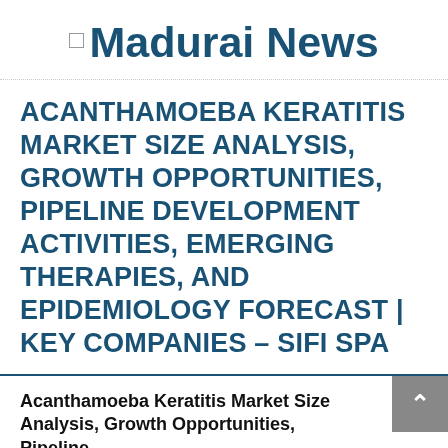Madurai News
ACANTHAMOEBA KERATITIS MARKET SIZE ANALYSIS, GROWTH OPPORTUNITIES, PIPELINE DEVELOPMENT ACTIVITIES, EMERGING THERAPIES, AND EPIDEMIOLOGY FORECAST | KEY COMPANIES – SIFI SPA
Acanthamoeba Keratitis Market Size Analysis, Growth Opportunities, Pipeline